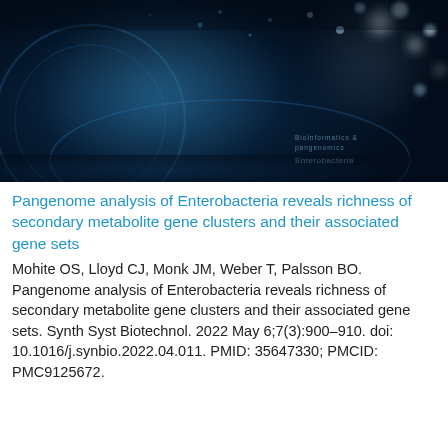[Figure (photo): Dark blue abstract science/biology background image with glowing circular structures, bokeh light effects, and faint text overlay in the bottom right corner.]
Pangenome analysis of Enterobacteria reveals richness of secondary metabolite gene clusters and their associated gene sets
Mohite OS, Lloyd CJ, Monk JM, Weber T, Palsson BO. Pangenome analysis of Enterobacteria reveals richness of secondary metabolite gene clusters and their associated gene sets. Synth Syst Biotechnol. 2022 May 6;7(3):900–910. doi: 10.1016/j.synbio.2022.04.011. PMID: 35647330; PMCID: PMC9125672.